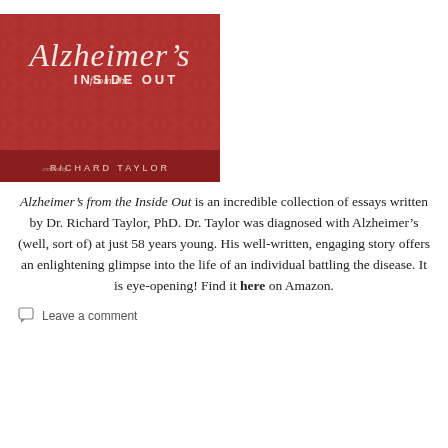[Figure (illustration): Book cover of 'Alzheimer's from the Inside Out' by Richard Taylor. Red background with decorative diamond pattern, title in elegant white italic script at top, author name in small caps at bottom on a darker red band.]
Alzheimer's from the Inside Out is an incredible collection of essays written by Dr. Richard Taylor, PhD. Dr. Taylor was diagnosed with Alzheimer's (well, sort of) at just 58 years young. His well-written, engaging story offers an enlightening glimpse into the life of an individual battling the disease. It is eye-opening! Find it here on Amazon.
Leave a comment